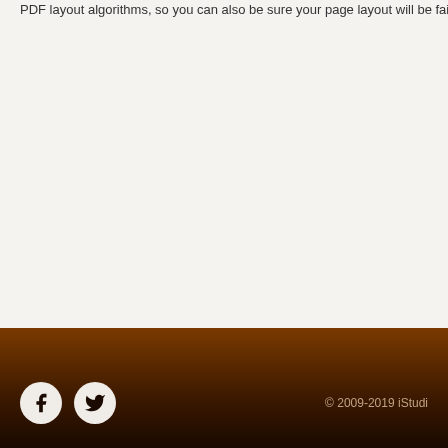PDF layout algorithms, so you can also be sure your page layout will be fai...
© 2009-2019 iStudi...